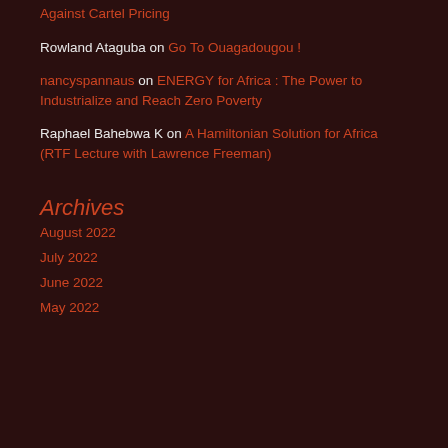Against Cartel Pricing
Rowland Ataguba on Go To Ouagadougou !
nancyspannaus on ENERGY for Africa : The Power to Industrialize and Reach Zero Poverty
Raphael Bahebwa K on A Hamiltonian Solution for Africa (RTF Lecture with Lawrence Freeman)
Archives
August 2022
July 2022
June 2022
May 2022